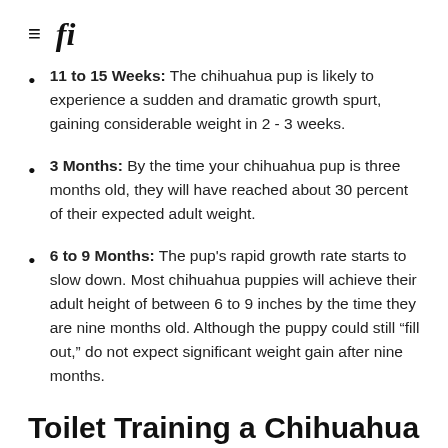≡ fi
11 to 15 Weeks: The chihuahua pup is likely to experience a sudden and dramatic growth spurt, gaining considerable weight in 2 - 3 weeks.
3 Months: By the time your chihuahua pup is three months old, they will have reached about 30 percent of their expected adult weight.
6 to 9 Months: The pup's rapid growth rate starts to slow down. Most chihuahua puppies will achieve their adult height of between 6 to 9 inches by the time they are nine months old. Although the puppy could still “fill out,” do not expect significant weight gain after nine months.
Toilet Training a Chihuahua